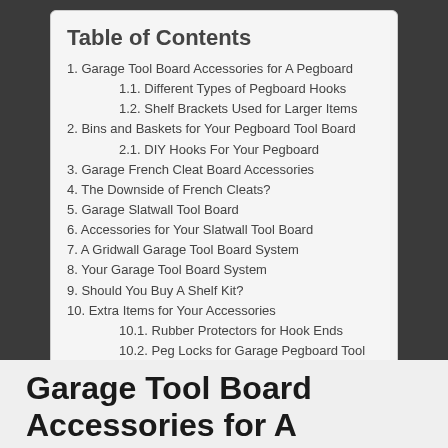Table of Contents
1. Garage Tool Board Accessories for A Pegboard
1.1. Different Types of Pegboard Hooks
1.2. Shelf Brackets Used for Larger Items
2. Bins and Baskets for Your Pegboard Tool Board
2.1. DIY Hooks For Your Pegboard
3. Garage French Cleat Board Accessories
4. The Downside of French Cleats?
5. Garage Slatwall Tool Board
6. Accessories for Your Slatwall Tool Board
7. A Gridwall Garage Tool Board System
8. Your Garage Tool Board System
9. Should You Buy A Shelf Kit?
10. Extra Items for Your Accessories
10.1. Rubber Protectors for Hook Ends
10.2. Peg Locks for Garage Pegboard Tool Board
Garage Tool Board Accessories for A